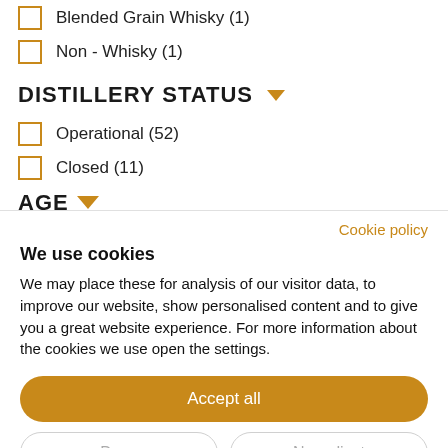Blended Grain Whisky (1)
Non - Whisky (1)
DISTILLERY STATUS
Operational (52)
Closed (11)
AGE
Cookie policy
We use cookies
We may place these for analysis of our visitor data, to improve our website, show personalised content and to give you a great website experience. For more information about the cookies we use open the settings.
Accept all
Deny
No, adjust